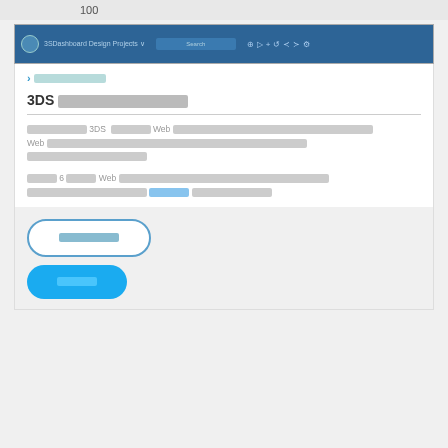100
[Figure (screenshot): 3DS Dashboard web application navigation bar screenshot showing dark blue toolbar with navigation icons and menu items]
ไฮเปอร์ลิงก์
3DS ไฮเปอร์ลิงก์คาดรายงาน
วาดบรรทัดใต้3DS ไฮเปอร์ลิงก์ไปยังWeb หน้าแผนผังในรายงานโดยอัตโนมัติเพื่อให้ผู้ใช้สามารถคลิกลิงก์และเปิดหน้าWeb ที่เกี่ยวข้องในเบราว์เซอร์ภายนอก ลิงก์เหล่านี้ถูกสร้างขึ้นใหม่สำหรับแต่ละรายงานที่สร้างขึ้น
ในขั้นตอน 6 พิมพ์ URL Web ที่เหมาะสม ลิงก์ที่สร้างขึ้นในรายงานโดยอัตโนมัติจะเชื่อมโยงไปยังที่อยู่ที่คุณป้อนที่นี่ คลิก ช่วยเหลือ สำหรับข้อมูลเพิ่มเติม
ก่อนหน้านี้
ถัดไป